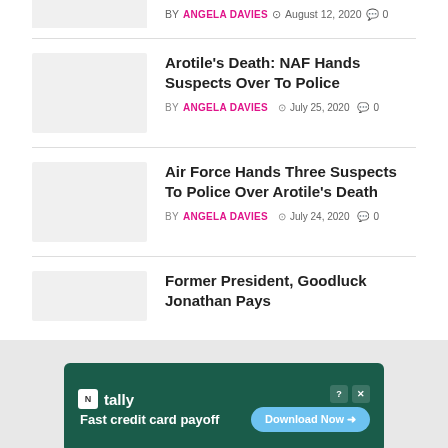BY ANGELA DAVIES · August 12, 2020 · 0 comments
Arotile's Death: NAF Hands Suspects Over To Police
BY ANGELA DAVIES · July 25, 2020 · 0 comments
Air Force Hands Three Suspects To Police Over Arotile's Death
BY ANGELA DAVIES · July 24, 2020 · 0 comments
Former President, Goodluck Jonathan Pays
[Figure (screenshot): Tally app advertisement banner: dark green background with Tally logo and tagline 'Fast credit card payoff' with a 'Download Now' button]